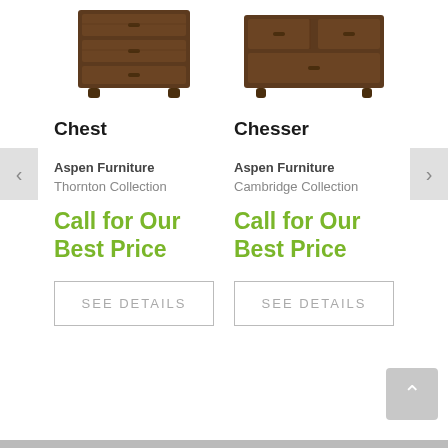[Figure (photo): Chest furniture product photo - dark wood chest of drawers, cropped showing lower portion]
Chest
Aspen Furniture
Thornton Collection
Call for Our Best Price
SEE DETAILS
[Figure (photo): Chesser furniture product photo - dark wood chesser/dresser, cropped showing lower portion]
Chesser
Aspen Furniture
Cambridge Collection
Call for Our Best Price
SEE DETAILS